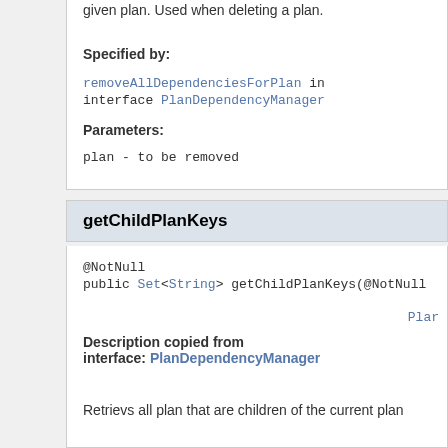given plan. Used when deleting a plan.
Specified by:
removeAllDependenciesForPlan in interface PlanDependencyManager
Parameters:
plan - to be removed
getChildPlanKeys
@NotNull
public Set<String> getChildPlanKeys(@NotNull Plar
Description copied from interface: PlanDependencyManager
Retrievs all plan that are children of the current plan
Specified by:
getChildPlanKeys in interface PlanDependencyManager